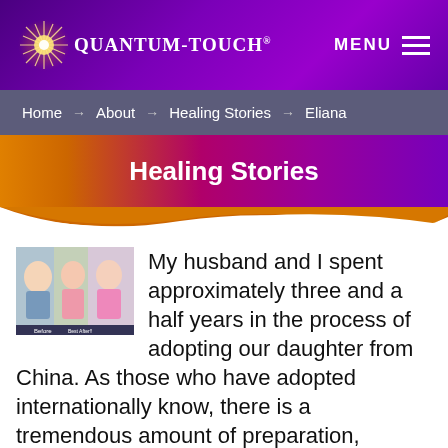[Figure (logo): Quantum-Touch logo with starburst graphic and text 'QUANTUM-TOUCH' on purple header background, with MENU button on right]
Home → About → Healing Stories → Eliana
Healing Stories
[Figure (photo): Three photos of a baby, showing before and after, labeled 'Before' and 'Best After!!']
My husband and I spent approximately three and a half years in the process of adopting our daughter from China. As those who have adopted internationally know, there is a tremendous amount of preparation, research,